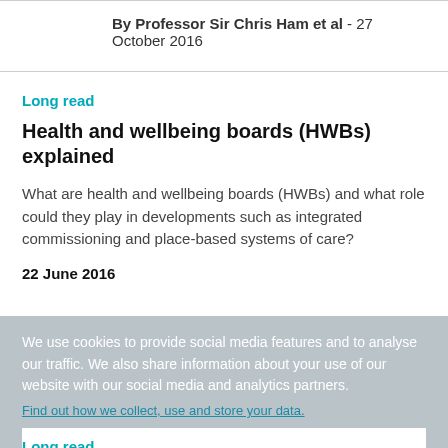By Professor Sir Chris Ham et al - 27 October 2016
Long read
Health and wellbeing boards (HWBs) explained
What are health and wellbeing boards (HWBs) and what role could they play in developments such as integrated commissioning and place-based systems of care?
22 June 2016
We use cookies to provide social media features and to analyse our traffic. We also share information about your use of our website with our social media and analytics partners. Find out how we collect, use and store your data.
Long read
Tackling the growing crisis in the NHS: An agenda for action
Drawing on our previous work and a lecture given by Chris Ham to the Cabinet and Whitehall Group on office...